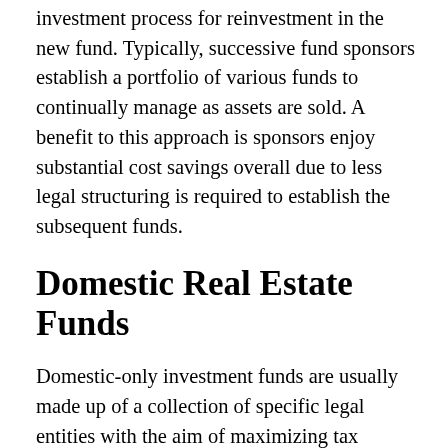investment process for reinvestment in the new fund. Typically, successive fund sponsors establish a portfolio of various funds to continually manage as assets are sold. A benefit to this approach is sponsors enjoy substantial cost savings overall due to less legal structuring is required to establish the subsequent funds.
Domestic Real Estate Funds
Domestic-only investment funds are usually made up of a collection of specific legal entities with the aim of maximizing tax advantages. These entities include:
A Limited Partnership, sometimes